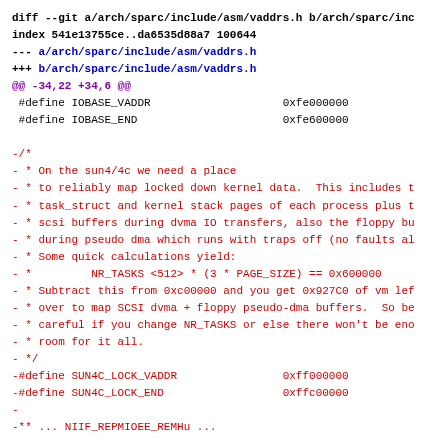diff --git a/arch/sparc/include/asm/vaddrs.h b/arch/sparc/inc
index 541e13755ce..da6535d88a7 100644
--- a/arch/sparc/include/asm/vaddrs.h
+++ b/arch/sparc/include/asm/vaddrs.h
@@ -34,22 +34,6 @@
 #define IOBASE_VADDR                    0xfe000000
 #define IOBASE_END                      0xfe600000

-/*
- * On the sun4/4c we need a place
- * to reliably map locked down kernel data.  This includes t
- * task_struct and kernel stack pages of each process plus t
- * scsi buffers during dvma IO transfers, also the floppy bu
- * during pseudo dma which runs with traps off (no faults al
- * Some quick calculations yield:
- *         NR_TASKS <512> * (3 * PAGE_SIZE) == 0x600000
- * Subtract this from 0xc00000 and you get 0x927C0 of vm lef
- * over to map SCSI dvma + floppy pseudo-dma buffers.  So be
- * careful if you change NR_TASKS or else there won't be eno
- * room for it all.
- */
-#define SUN4C_LOCK_VADDR                0xff000000
-#define SUN4C_LOCK_END                  0xffc00000
-
-** ... NIIF_REPMIOEE_REMHu ...